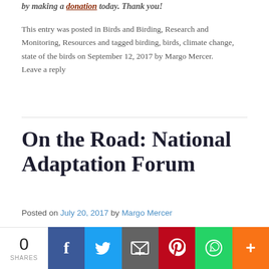by making a donation today. Thank you!
This entry was posted in Birds and Birding, Research and Monitoring, Resources and tagged birding, birds, climate change, state of the birds on September 12, 2017 by Margo Mercer. Leave a reply
On the Road: National Adaptation Forum
Posted on July 20, 2017 by Margo Mercer
by Daniel Brown and Jeff Collins